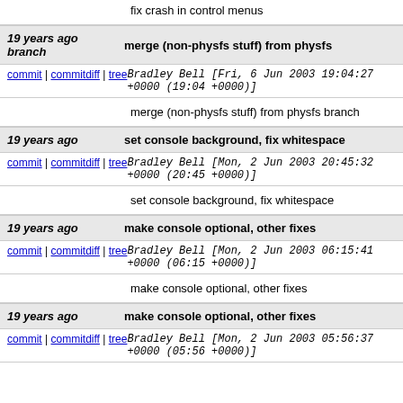fix crash in control menus
19 years ago   merge (non-physfs stuff) from physfs branch
commit | commitdiff | tree   Bradley Bell [Fri, 6 Jun 2003 19:04:27 +0000 (19:04 +0000)]
merge (non-physfs stuff) from physfs branch
19 years ago   set console background, fix whitespace
commit | commitdiff | tree   Bradley Bell [Mon, 2 Jun 2003 20:45:32 +0000 (20:45 +0000)]
set console background, fix whitespace
19 years ago   make console optional, other fixes
commit | commitdiff | tree   Bradley Bell [Mon, 2 Jun 2003 06:15:41 +0000 (06:15 +0000)]
make console optional, other fixes
19 years ago   make console optional, other fixes
commit | commitdiff | tree   Bradley Bell [Mon, 2 Jun 2003 05:56:37